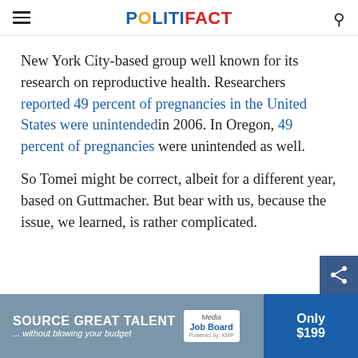POLITIFACT
New York City-based group well known for its research on reproductive health. Researchers reported 49 percent of pregnancies in the United States were unintended in 2006. In Oregon, 49 percent of pregnancies were unintended as well.
So Tomei might be correct, albeit for a different year, based on Guttmacher. But bear with us, because the issue, we learned, is rather complicated.
[Figure (other): Advertisement banner: SOURCE GREAT TALENT ...without blowing your budget, Media Job Board, Only $199]